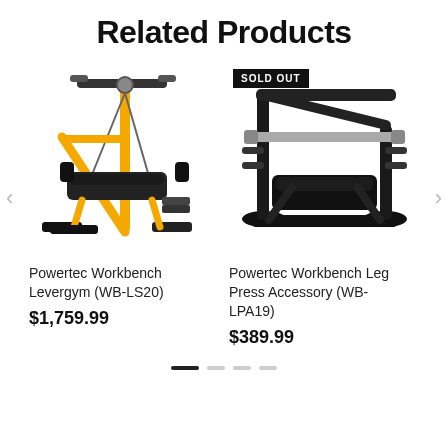Related Products
[Figure (photo): Powertec Workbench Levergym (WB-LS20) - yellow and black multi-function gym machine]
Powertec Workbench Levergym (WB-LS20)
$1,759.99
[Figure (photo): Powertec Workbench Leg Press Accessory (WB-LPA19) - black leg press machine with SOLD OUT badge]
Powertec Workbench Leg Press Accessory (WB-LPA19)
$389.99